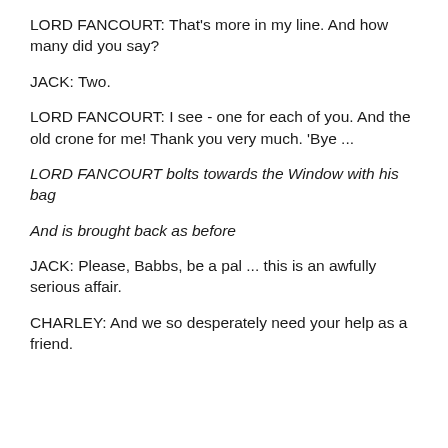LORD FANCOURT: That's more in my line. And how many did you say?
JACK: Two.
LORD FANCOURT: I see - one for each of you. And the old crone for me! Thank you very much. 'Bye ...
LORD FANCOURT bolts towards the Window with his bag
And is brought back as before
JACK: Please, Babbs, be a pal ... this is an awfully serious affair.
CHARLEY: And we so desperately need your help as a friend.